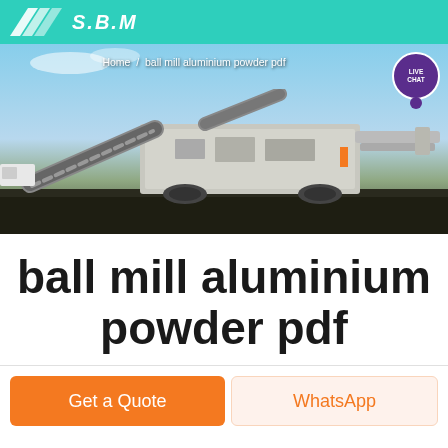SUMT (logo with chevron)
[Figure (photo): Industrial mining/crushing machine on a dark gravel site with blue sky background, with breadcrumb navigation overlay reading 'Home / ball mill aluminium powder pdf' and a purple LIVE CHAT bubble in top right corner.]
ball mill aluminium powder pdf
Get a Quote
WhatsApp